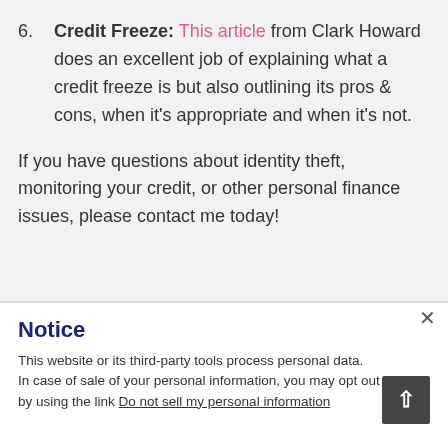6. Credit Freeze: This article from Clark Howard does an excellent job of explaining what a credit freeze is but also outlining its pros & cons, when it's appropriate and when it's not.
If you have questions about identity theft, monitoring your credit, or other personal finance issues, please contact me today!
Notice
This website or its third-party tools process personal data. In case of sale of your personal information, you may opt out by using the link Do not sell my personal information